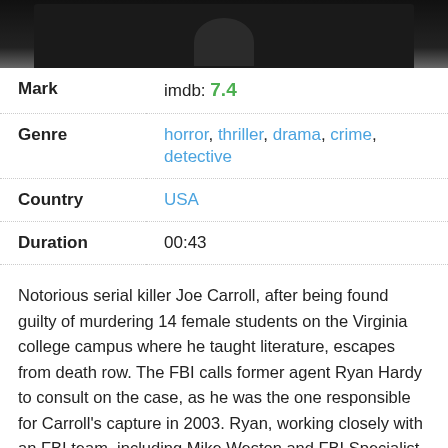[Figure (photo): Dark movie/TV show promotional image showing a figure in dim lighting]
| Mark | imdb: 7.4 |
| Genre | horror, thriller, drama, crime, detective |
| Country | USA |
| Duration | 00:43 |
Notorious serial killer Joe Carroll, after being found guilty of murdering 14 female students on the Virginia college campus where he taught literature, escapes from death row. The FBI calls former agent Ryan Hardy to consult on the case, as he was the one responsible for Carroll's capture in 2003. Ryan, working closely with an FBI team, including Mike Weston and FBI Specialist Debra Parker, piece together the ever-growing web of murders orchestrated by the devious Carroll.